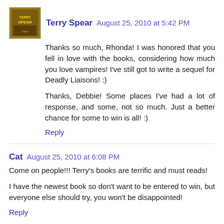Terry Spear  August 25, 2010 at 5:42 PM
Thanks so much, Rhonda! I was honored that you fell in love with the books, considering how much you love vampires! I've still got to write a sequel for Deadly Liaisons! :)
Thanks, Debbie! Some places I've had a lot of response, and some, not so much. Just a better chance for some to win is all! :)
Reply
Cat  August 25, 2010 at 6:08 PM
Come on people!!! Terry's books are terrific and must reads!
I have the newest book so don't want to be entered to win, but everyone else should try, you won't be disappointed!
Reply